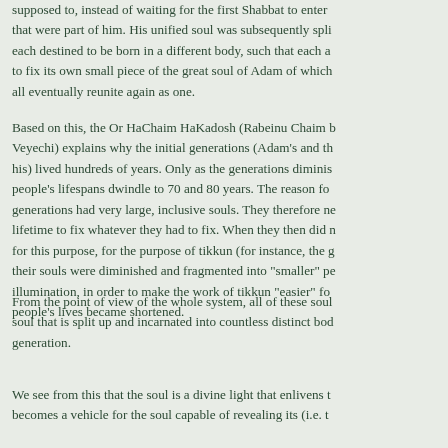supposed to, instead of waiting for the first Shabbat to enter that were part of him. His unified soul was subsequently spl each destined to be born in a different body, such that each a to fix its own small piece of the great soul of Adam of which all eventually reunite again as one.
Based on this, the Or HaChaim HaKadosh (Rabeinu Chaim b Veyechi) explains why the initial generations (Adam's and th his) lived hundreds of years. Only as the generations diminis people's lifespans dwindle to 70 and 80 years. The reason fo generations had very large, inclusive souls. They therefore ne lifetime to fix whatever they had to fix. When they then did n for this purpose, for the purpose of tikkun (for instance, the g their souls were diminished and fragmented into "smaller" pe illumination, in order to make the work of tikkun "easier" fo people's lives became shortened.
From the point of view of the whole system, all of these sou soul that is split up and incarnated into countless distinct bod generation.
We see from this that the soul is a divine light that enlivens t becomes a vehicle for the soul capable of revealing its (i.e. t